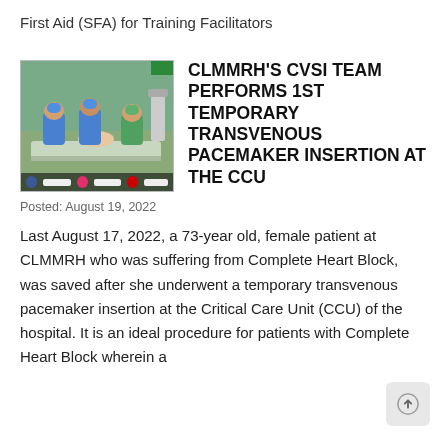First Aid (SFA) for Training Facilitators
[Figure (photo): Medical team performing a procedure at the CCU, with healthcare workers in blue scrubs and surgical hats around a patient on a hospital bed]
CLMMRH'S CVSI TEAM PERFORMS 1ST TEMPORARY TRANSVENOUS PACEMAKER INSERTION AT THE CCU
Posted: August 19, 2022
Last August 17, 2022, a 73-year old, female patient at CLMMRH who was suffering from Complete Heart Block, was saved after she underwent a temporary transvenous pacemaker insertion at the Critical Care Unit (CCU) of the hospital. It is an ideal procedure for patients with Complete Heart Block wherein a